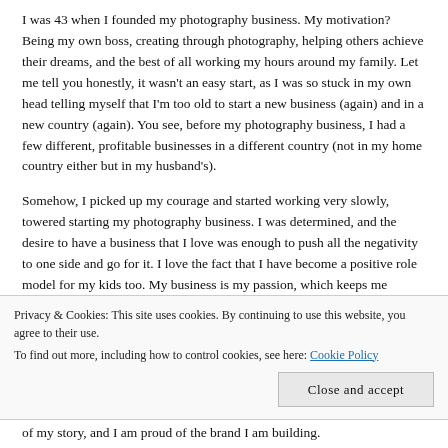I was 43 when I founded my photography business. My motivation? Being my own boss, creating through photography, helping others achieve their dreams, and the best of all working my hours around my family. Let me tell you honestly, it wasn't an easy start, as I was so stuck in my own head telling myself that I'm too old to start a new business (again) and in a new country (again). You see, before my photography business, I had a few different, profitable businesses in a different country (not in my home country either but in my husband's).
Somehow, I picked up my courage and started working very slowly, towered starting my photography business. I was determined, and the desire to have a business that I love was enough to push all the negativity to one side and go for it. I love the fact that I have become a positive role model for my kids too. My business is my passion, which keeps me focused and driven, and with that, I showed my kids that good thing happen if you keep going and not quit when the going gets tough.
Privacy & Cookies: This site uses cookies. By continuing to use this website, you agree to their use.
To find out more, including how to control cookies, see here: Cookie Policy
of my story, and I am proud of the brand I am building.